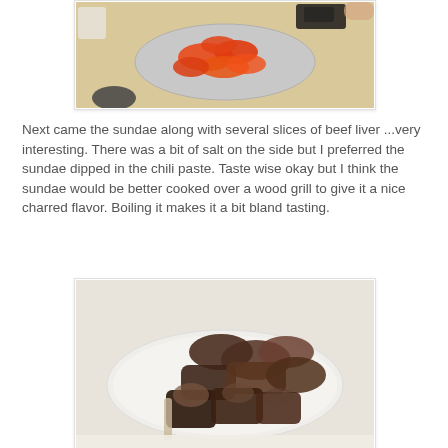[Figure (photo): Photo of a plate with red/orange roasted peppers or similar food items on a silver/foil tray, on a beige table with a cup and bowl visible]
Next came the sundae along with several slices of beef liver ...very interesting. There was a bit of salt on the side but I preferred the sundae dipped in the chili paste. Taste wise okay but I think the sundae would be better cooked over a wood grill to give it a nice charred flavor. Boiling it makes it a bit bland tasting.
[Figure (photo): Photo of a white plate with slices of sundae (Korean blood sausage) and beef liver pieces on a table]